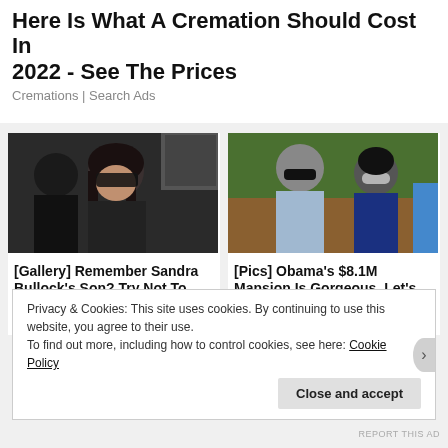Here Is What A Cremation Should Cost In 2022 - See The Prices
Cremations | Search Ads
[Figure (photo): Woman with sunglasses holding a child]
[Gallery] Remember Sandra Bullock's Son? Try Not To Gasp When...
Travel Like A Star
[Figure (photo): Man and woman in sunglasses outdoors]
[Pics] Obama's $8.1M Mansion Is Gorgeous, Let's Take A Look Inside
BuzzAura
Privacy & Cookies: This site uses cookies. By continuing to use this website, you agree to their use.
To find out more, including how to control cookies, see here: Cookie Policy